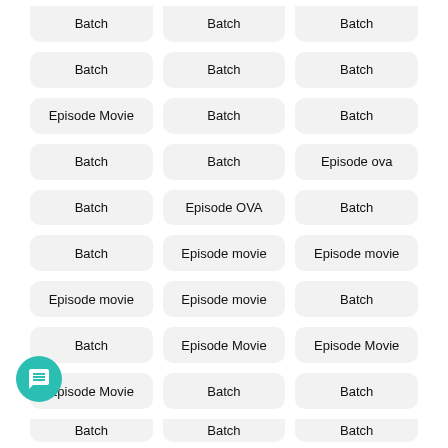Batch | Batch | Batch (partial top row)
Batch | Batch | Batch
Episode Movie | Batch | Batch
Batch | Batch | Episode ova
Batch | Episode OVA | Batch
Batch | Episode movie | Episode movie
Episode movie | Episode movie | Batch
Batch | Episode Movie | Episode Movie
Episode Movie | Batch | Batch
Batch | Batch | Batch (partial bottom row)